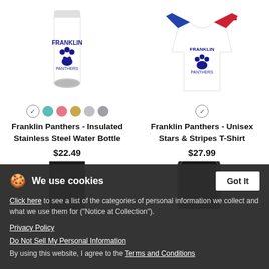[Figure (photo): White insulated stainless steel water bottle with Franklin Panthers paw print logo in blue]
[Figure (photo): White unisex stars and stripes T-shirt with Franklin Panthers paw print logo, red and blue American flag sleeves]
[Figure (other): Color swatches: white checkmark, teal, pink, gold, light gray, gray]
[Figure (other): White checkmark circle swatch]
Franklin Panthers - Insulated Stainless Steel Water Bottle
$22.49
Franklin Panthers - Unisex Stars & Stripes T-Shirt
$27.99
[Figure (photo): Black insulated can cooler with Franklin Panthers paw print logo]
[Figure (photo): Black phone case with Franklin Panthers paw print logo]
We use cookies
Click here to see a list of the categories of personal information we collect and what we use them for ("Notice at Collection").
Privacy Policy
Do Not Sell My Personal Information
By using this website, I agree to the Terms and Conditions